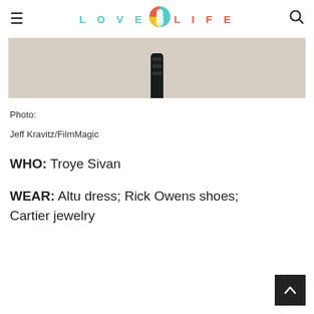LOVE LIFE
[Figure (photo): Partial photo showing the bottom of a microphone or dark object against a light beige background]
Photo:

Jeff Kravitz/FilmMagic
WHO: Troye Sivan
WEAR: Altu dress; Rick Owens shoes; Cartier jewelry